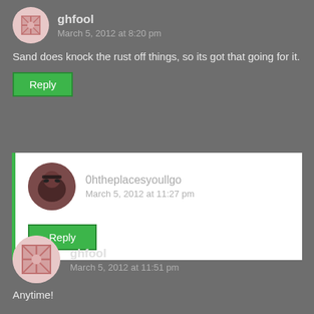ghfool
March 5, 2012 at 8:20 pm
Sand does knock the rust off things, so its got that going for it.
Reply
0htheplacesyoullgo
March 5, 2012 at 11:27 pm
Reply
ghfool
March 5, 2012 at 11:51 pm
Anytime!